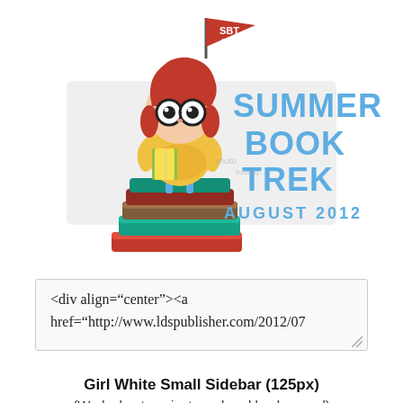[Figure (illustration): Summer Book Trek August 2012 logo: cartoon girl with red hair, black glasses, reading a yellow book, standing on a stack of colorful books, holding a red pennant flag that reads SBT 2012. Next to her, text reads SUMMER BOOK TREK AUGUST 2012 in teal/blue letters.]
<div align="center"><a href="http://www.ldspublisher.com/2012/07
Girl White Small Sidebar (125px)
(Works best against a colored background)